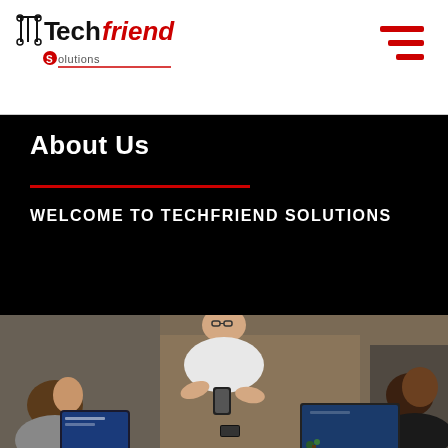Techfriend Solutions
About Us
WELCOME TO TECHFRIEND SOLUTIONS
[Figure (photo): Aerial view of three people working together around a wooden table with laptops, tablets, and smartphones]